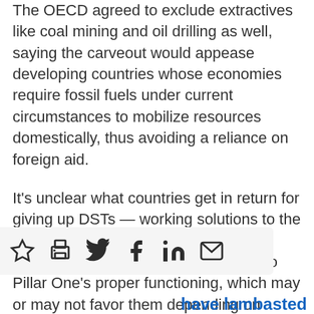The OECD agreed to exclude extractives like coal mining and oil drilling as well, saying the carveout would appease developing countries whose economies require fossil fuels under current circumstances to mobilize resources domestically, thus avoiding a reliance on foreign aid.
It's unclear what countries get in return for giving up DSTs — working solutions to the problems the deal hopes to solve — beyond certain rules part-and-parcel to Pillar One's proper functioning, which may or may not favor them depending on details not yet publicly finalized, the organizations' officials told Law360.
[Figure (other): Social sharing toolbar with icons: star/bookmark, print, Twitter, Facebook, LinkedIn, email]
have lambasted